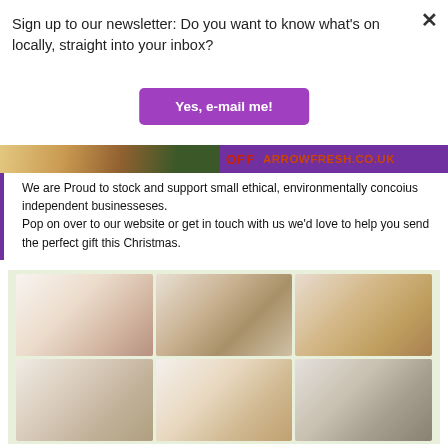Sign up to our newsletter: Do you want to know what's on locally, straight into your inbox?
[Figure (screenshot): Purple button labeled 'Yes, e-mail me!']
[Figure (photo): Promotional banner strip with 'OFF ARROWFRESH.CO.UK' text on purple background]
We are Proud to stock and support small ethical, environmentally concoius independent businesseses. Pop on over to our website or get in touch with us we'd love to help you send the perfect gift this Christmas.
[Figure (photo): Grid of 6 product photos showing gift boxes, candles, and Christmas gifts from Arrowfresh]